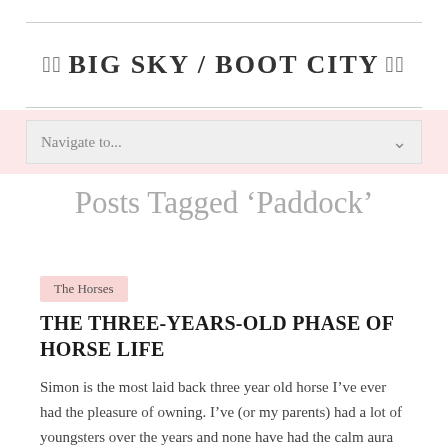BIG SKY / BOOT CITY
Navigate to...
Posts Tagged 'Paddock'
The Horses
THE THREE-YEARS-OLD PHASE OF HORSE LIFE
Simon is the most laid back three year old horse I've ever had the pleasure of owning. I've (or my parents) had a lot of youngsters over the years and none have had the calm aura like Simon. He doesn't eat a fool in the pasture. He calmly